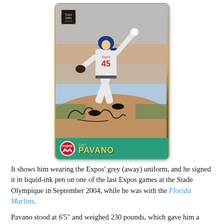[Figure (photo): A signed baseball trading card (Topps 2001) showing Carl Pavano #45 of the Montreal Expos in a pitching stance, wearing grey away uniform. The card has a teal/green border and shows the Expos logo and the name PAVANO at the bottom. The card has an autograph in liquid-ink pen.]
It shows him wearing the Expos' grey (away) uniform, and he signed it in liquid-ink pen on one of the last Expos games at the Stade Olympique in September 2004, while he was with the Florida Marlins.
Pavano stood at 6'5" and weighed 230 pounds, which gave him a good sinker-ball and fast sliders. He had an up-and-